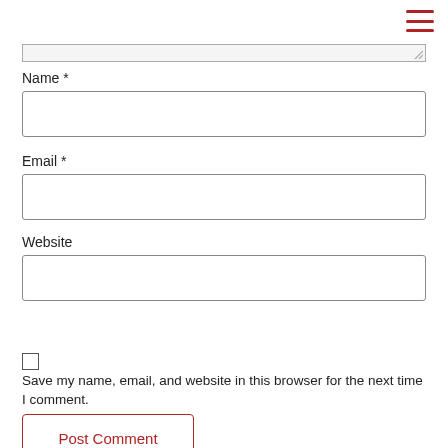[Figure (other): Hamburger menu icon (three horizontal red lines) in top right corner]
[Figure (other): Partially visible textarea input field at top of page]
Name *
[Figure (other): Name input field (empty text box)]
Email *
[Figure (other): Email input field (empty text box)]
Website
[Figure (other): Website input field (empty text box)]
Save my name, email, and website in this browser for the next time I comment.
Post Comment